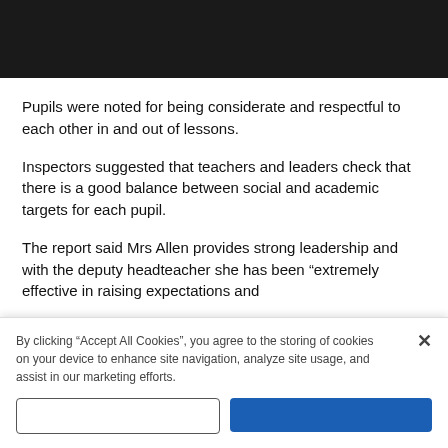[Figure (photo): Dark/black header image banner at top of page]
Pupils were noted for being considerate and respectful to each other in and out of lessons.
Inspectors suggested that teachers and leaders check that there is a good balance between social and academic targets for each pupil.
The report said Mrs Allen provides strong leadership and with the deputy headteacher she has been “extremely effective in raising expectations and
By clicking “Accept All Cookies”, you agree to the storing of cookies on your device to enhance site navigation, analyze site usage, and assist in our marketing efforts.